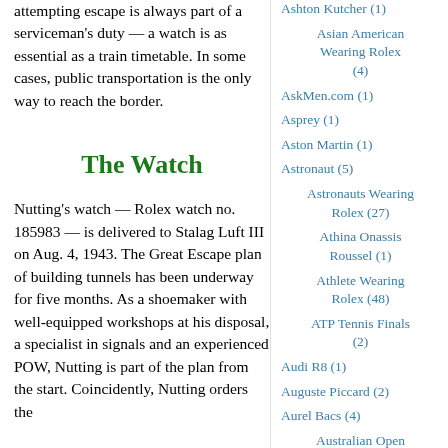attempting escape is always part of a serviceman's duty — a watch is as essential as a train timetable. In some cases, public transportation is the only way to reach the border.
The Watch
Nutting's watch — Rolex watch no. 185983 — is delivered to Stalag Luft III on Aug. 4, 1943. The Great Escape plan of building tunnels has been underway for five months. As a shoemaker with well-equipped workshops at his disposal, a specialist in signals and an experienced POW, Nutting is part of the plan from the start. Coincidently, Nutting orders the
Ashton Kutcher (1)
Asian American Wearing Rolex (4)
AskMen.com (1)
Asprey (1)
Aston Martin (1)
Astronaut (5)
Astronauts Wearing Rolex (27)
Athina Onassis Roussel (1)
Athlete Wearing Rolex (48)
ATP Tennis Finals (2)
Audi R8 (1)
Auguste Piccard (2)
Aurel Bacs (4)
Australian Open Tennis (5)